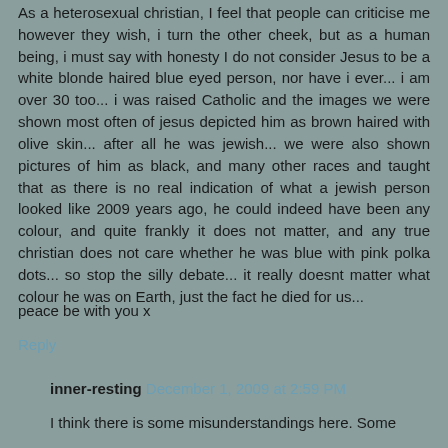As a heterosexual christian, I feel that people can criticise me however they wish, i turn the other cheek, but as a human being, i must say with honesty I do not consider Jesus to be a white blonde haired blue eyed person, nor have i ever... i am over 30 too... i was raised Catholic and the images we were shown most often of jesus depicted him as brown haired with olive skin... after all he was jewish... we were also shown pictures of him as black, and many other races and taught that as there is no real indication of what a jewish person looked like 2009 years ago, he could indeed have been any colour, and quite frankly it does not matter, and any true christian does not care whether he was blue with pink polka dots... so stop the silly debate... it really doesnt matter what colour he was on Earth, just the fact he died for us...
peace be with you x
Reply
inner-resting December 1, 2009 at 2:59 PM
I think there is some misunderstandings here. Some